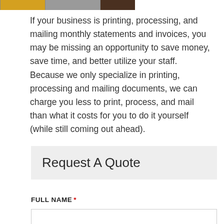[Figure (photo): Partial image strip at top of page showing portions of photos]
If your business is printing, processing, and mailing monthly statements and invoices, you may be missing an opportunity to save money, save time, and better utilize your staff. Because we only specialize in printing, processing and mailing documents, we can charge you less to print, process, and mail than what it costs for you to do it yourself (while still coming out ahead).
Request A Quote
FULL NAME *